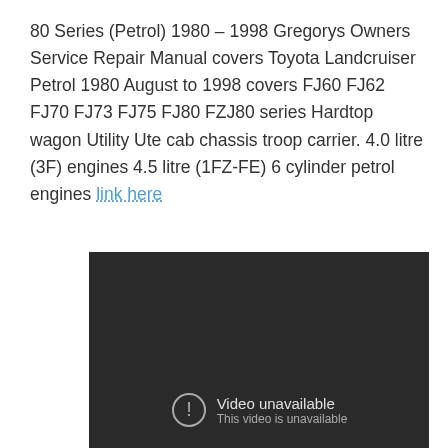80 Series (Petrol) 1980 – 1998 Gregorys Owners Service Repair Manual covers Toyota Landcruiser Petrol 1980 August to 1998 covers FJ60 FJ62 FJ70 FJ73 FJ75 FJ80 FZJ80 series Hardtop wagon Utility Ute cab chassis troop carrier. 4.0 litre (3F) engines 4.5 litre (1FZ-FE) 6 cylinder petrol engines link here
[Figure (screenshot): Dark video player showing 'Video unavailable / This video is unavailable' message with an exclamation mark icon in a circle.]